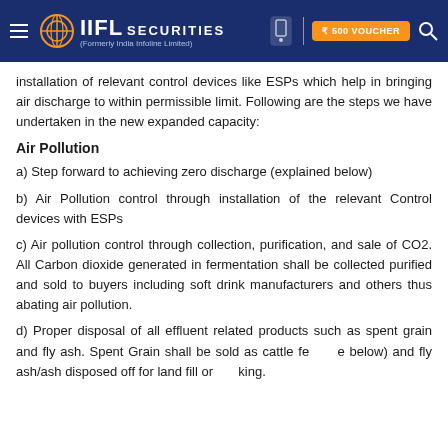IIFL Securities (Formerly India Infoline Limited)
installation of relevant control devices like ESPs which help in bringing air discharge to within permissible limit. Following are the steps we have undertaken in the new expanded capacity:
Air Pollution
a) Step forward to achieving zero discharge (explained below)
b) Air Pollution control through installation of the relevant Control devices with ESPs
c) Air pollution control through collection, purification, and sale of CO2. All Carbon dioxide generated in fermentation shall be collected purified and sold to buyers including soft drink manufacturers and others thus abating air pollution.
d) Proper disposal of all effluent related products such as spent grain and fly ash. Spent Grain shall be sold as cattle fe (see below) and fly ash/ash disposed off for land fill or king.